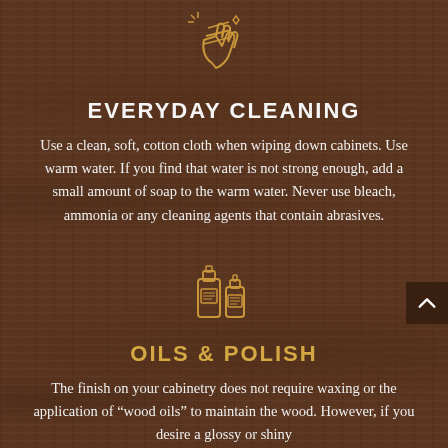[Figure (illustration): Gold line icon of a hand wiping with sparkles, representing cleaning]
EVERYDAY CLEANING
Use a clean, soft, cotton cloth when wiping down cabinets. Use warm water. If you find that water is not strong enough, add a small amount of soap to the warm water. Never use bleach, ammonia or any cleaning agents that contain abrasives.
[Figure (illustration): Gold line icon of cleaning product bottles representing oils and polish]
OILS & POLISH
The finish on your cabinetry does not require waxing or the application of “wood oils” to maintain the wood. However, if you desire a glossy or shiny